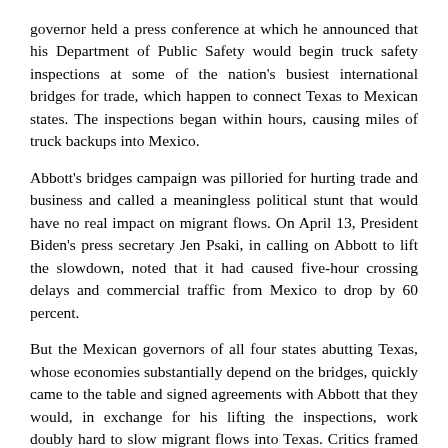governor held a press conference at which he announced that his Department of Public Safety would begin truck safety inspections at some of the nation's busiest international bridges for trade, which happen to connect Texas to Mexican states. The inspections began within hours, causing miles of truck backups into Mexico.
Abbott's bridges campaign was pilloried for hurting trade and business and called a meaningless political stunt that would have no real impact on migrant flows. On April 13, President Biden's press secretary Jen Psaki, in calling on Abbott to lift the slowdown, noted that it had caused five-hour crossing delays and commercial traffic from Mexico to drop by 60 percent.
But the Mexican governors of all four states abutting Texas, whose economies substantially depend on the bridges, quickly came to the table and signed agreements with Abbott that they would, in exchange for his lifting the inspections, work doubly hard to slow migrant flows into Texas. Critics framed the agreements as a way for Abbott to make a graceful exit from his controversial bridge slowdown campaign.
But as Operation Mirror is showing right now in Coahuila and probably in other Mexican states, too, Abbott did not exit and the agreements were not forgotten.